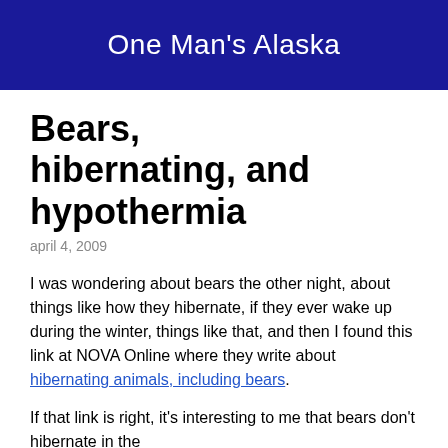One Man's Alaska
Bears, hibernating, and hypothermia
april 4, 2009
I was wondering about bears the other night, about things like how they hibernate, if they ever wake up during the winter, things like that, and then I found this link at NOVA Online where they write about hibernating animals, including bears.
If that link is right, it's interesting to me that bears don't hibernate in the